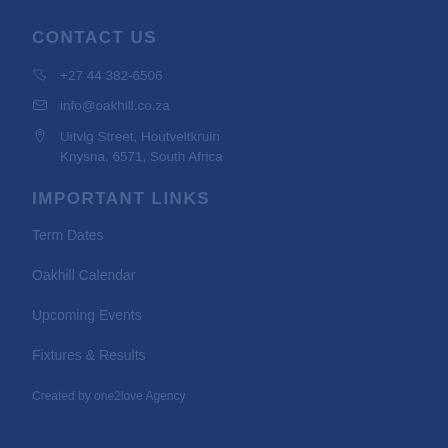CONTACT US
+27 44 382-6506
info@oakhill.co.za
Uitvlg Street, Houtveltkruin
Knysna, 6571, South Africa
IMPORTANT LINKS
Term Dates
Oakhill Calendar
Upcoming Events
Fixtures & Results
Created by one2love Agency